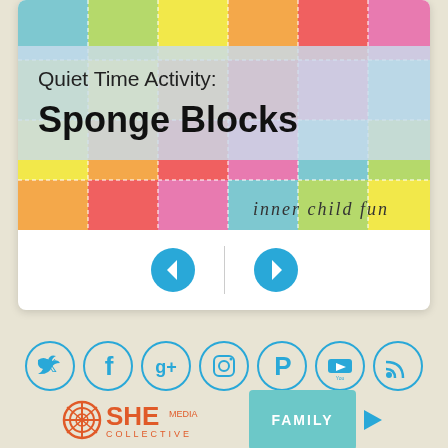[Figure (photo): Card with quilted sponge blocks background image showing colorful fabric squares with stitching. Title reads 'Quiet Time Activity: Sponge Blocks' with 'inner child fun' branding. Navigation arrows (back/forward) below.]
[Figure (infographic): Row of 7 social media icon circles: Twitter, Facebook, Google+, Instagram, Pinterest, YouTube, RSS feed]
[Figure (logo): SHE Media Collective FAMILY advertisement banner with Learn More and Privacy links]